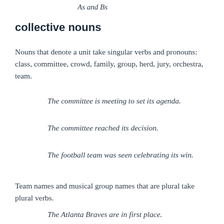As and Bs
collective nouns
Nouns that denote a unit take singular verbs and pronouns: class, committee, crowd, family, group, herd, jury, orchestra, team.
The committee is meeting to set its agenda.
The committee reached its decision.
The football team was seen celebrating its win.
Team names and musical group names that are plural take plural verbs.
The Atlanta Braves are in first place.
The Avett Brothers are popular amongst cadets